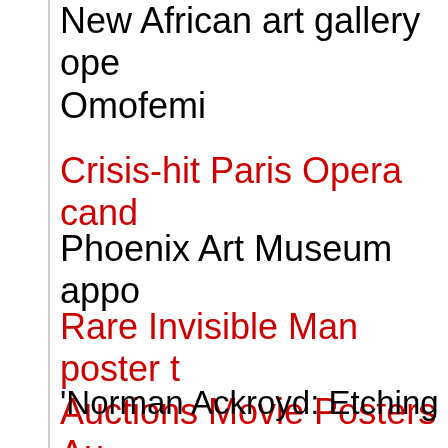New African art gallery opens Omofemi
Crisis-hit Paris Opera cand
Phoenix Art Museum appo
Rare Invisible Man poster t Auctions Movie Posters Au
'Norman Ackroyd: Etching Watts Contemporary Galle
Main exhibition of Lisbon T Lausanne